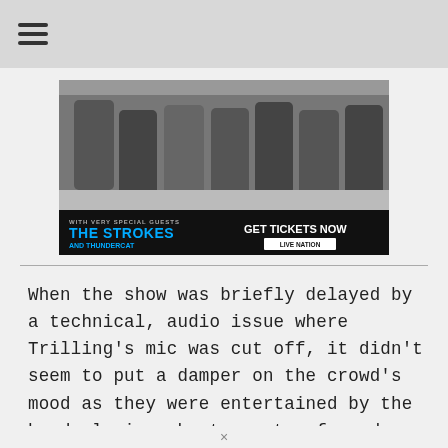≡
[Figure (photo): Black and white photo of a band (The Strokes) leaning over a surface, with advertisement text: 'WITH VERY SPECIAL GUESTS THE STROKES AND THUNDERCAT — GET TICKETS NOW LIVE NATION']
When the show was briefly delayed by a technical, audio issue where Trilling's mic was cut off, it didn't seem to put a damper on the crowd's mood as they were entertained by the band playing short spurts of random melodies. Cheers broke out when the issue was fixed and Trilling bashfully continued to lead the show forward. A more
×